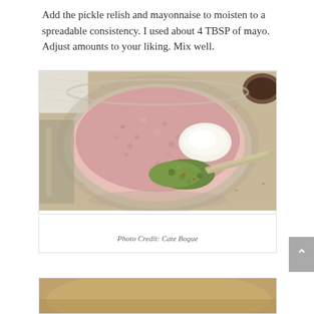Add the pickle relish and mayonnaise to moisten to a spreadable consistency. I used about 4 TBSP of mayo. Adjust amounts to your liking. Mix well.
[Figure (photo): A glass bowl on a granite countertop filled with ground pink meat (bologna salad), with a dollop of white mayonnaise and green pickle relish added on top, with a spoon visible.]
Photo Credit: Cate Bogue
[Figure (photo): Partial view of another food photo at the bottom of the page, cropped.]